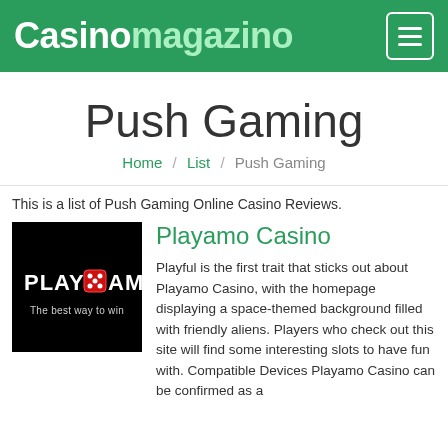Casinomagazino
Push Gaming
Home / List / Push Gaming
This is a list of Push Gaming Online Casino Reviews.
[Figure (logo): Playamo Casino logo — black background with PLAY[dice]AMO in white bold text and tagline 'The best way to win']
Playamo Casino
Playful is the first trait that sticks out about Playamo Casino, with the homepage displaying a space-themed background filled with friendly aliens. Players who check out this site will find some interesting slots to have fun with. Compatible Devices Playamo Casino can be confirmed as a